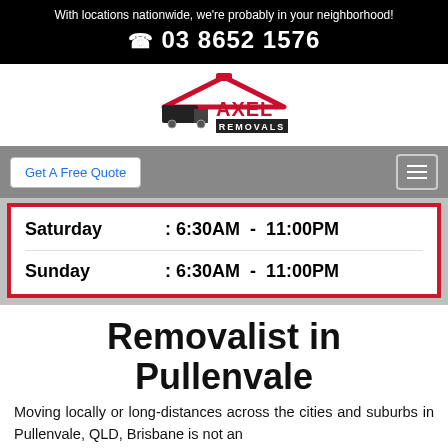With locations nationwide, we're probably in your neighborhood!
☎ 03 8652 1576
[Figure (logo): Axel Removals logo with house roof outline and truck icon]
Get A Free Quote
| Day | Hours |
| --- | --- |
| Saturday | : 6:30AM - 11:00PM |
| Sunday | : 6:30AM - 11:00PM |
Removalist in Pullenvale
Moving locally or long-distances across the cities and suburbs in Pullenvale, QLD, Brisbane is not an